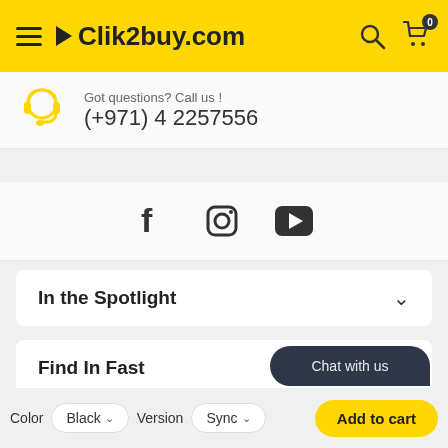Clik2buy.com
Got questions? Call us ! (+971) 4 2257556
[Figure (other): Social media icons: Facebook, Instagram, YouTube]
In the Spotlight
Find In Fast
Information
Chat with us
Color Black  Version Sync  Add to cart